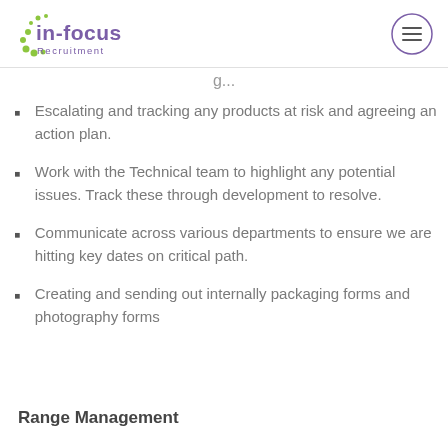In-Focus Recruitment
Escalating and tracking any products at risk and agreeing an action plan.
Work with the Technical team to highlight any potential issues. Track these through development to resolve.
Communicate across various departments to ensure we are hitting key dates on critical path.
Creating and sending out internally packaging forms and photography forms
Range Management